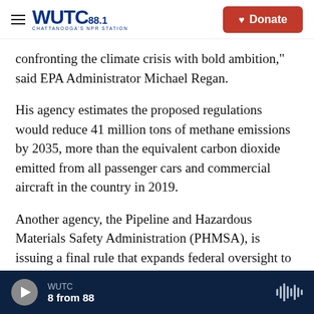WUTC 88.1 CHATTANOOGA'S NPR STATION | Donate
confronting the climate crisis with bold ambition," said EPA Administrator Michael Regan.
His agency estimates the proposed regulations would reduce 41 million tons of methane emissions by 2035, more than the equivalent carbon dioxide emitted from all passenger cars and commercial aircraft in the country in 2019.
Another agency, the Pipeline and Hazardous Materials Safety Administration (PHMSA), is issuing a final rule that expands federal oversight to include more natural gas pipelines. For the first
WUTC | 8 from 88